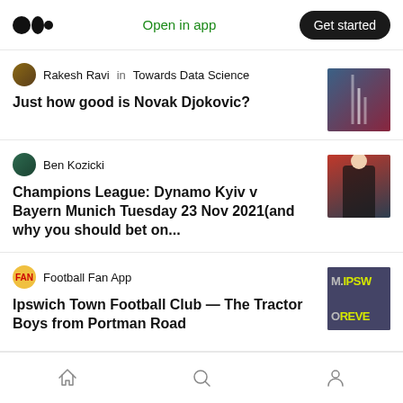Medium logo | Open in app | Get started
Rakesh Ravi in Towards Data Science
Just how good is Novak Djokovic?
[Figure (photo): Article thumbnail showing data visualization]
Ben Kozicki
Champions League: Dynamo Kyiv v Bayern Munich Tuesday 23 Nov 2021(and why you should bet on...
[Figure (photo): Article thumbnail showing a football player in dark kit]
Football Fan App
Ipswich Town Football Club — The Tractor Boys from Portman Road
[Figure (photo): Article thumbnail with text M.IPSW OREVE on dark background]
Home | Search | Profile navigation icons